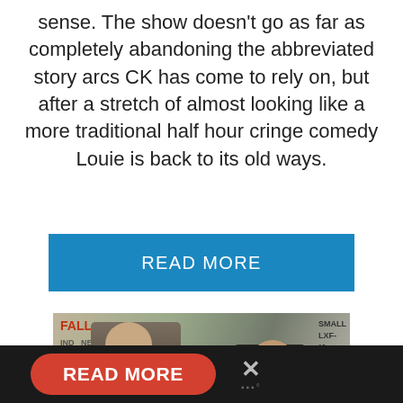sense. The show doesn't go as far as completely abandoning the abbreviated story arcs CK has come to rely on, but after a stretch of almost looking like a more traditional half hour cringe comedy Louie is back to its old ways.
[Figure (other): Blue 'READ MORE' button on white background]
[Figure (photo): Two people standing in front of signs including 'FALL' in red text and 'SMALL' in dark text. A woman in a dark jacket and a shorter man in a dark suit are visible. A share button icon is visible on the right side.]
[Figure (other): Bottom bar with dark background containing a red oval 'READ MORE' button and an X close button with dots below it]